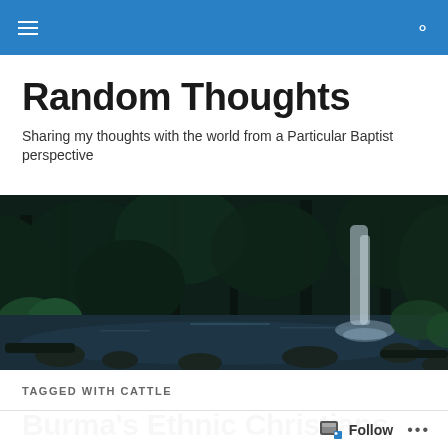Random Thoughts blog header navigation bar
Random Thoughts
Sharing my thoughts with the world from a Particular Baptist perspective
[Figure (photo): Dark forest scene with a waterfall and rocky stream, lush green ferns and trees in background]
TAGGED WITH CATTLE
Burma's Ethnic Christians Fear Bleak Future after Coup
Follow